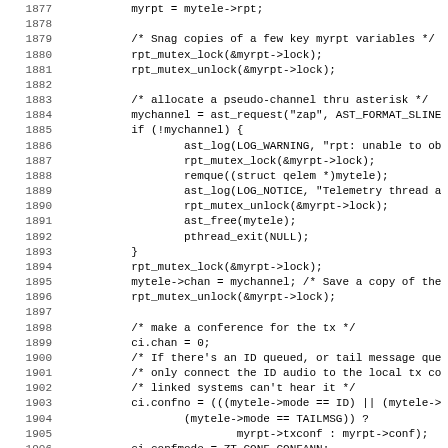[Figure (screenshot): Source code listing in C (lines 1877-1908+), showing telemetry thread logic including mutex locks, channel allocation via ast_request, conference setup with ZT_CONF_CONFANN, and ioctl calls.]